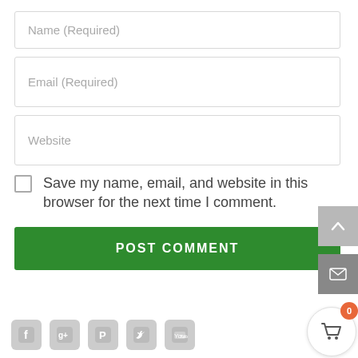Name (Required)
Email (Required)
Website
Save my name, email, and website in this browser for the next time I comment.
POST COMMENT
[Figure (screenshot): Back-to-top arrow button (grey square)]
[Figure (screenshot): Email/envelope icon button (dark grey square)]
[Figure (screenshot): Social media icons row: Facebook, Google+, Pinterest, Twitter, YouTube]
[Figure (screenshot): Shopping cart button with orange badge showing 0]